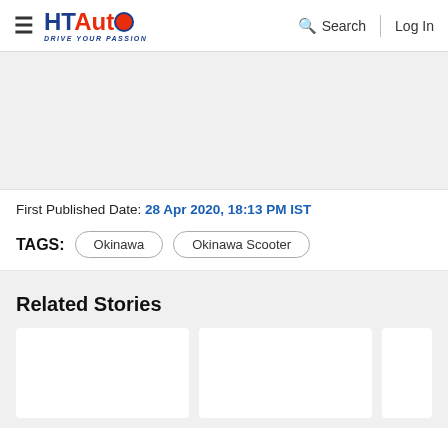HT Auto — Drive Your Passion | Search | Log In
[Figure (photo): Large image placeholder (light gray background), likely an article image]
First Published Date: 28 Apr 2020, 18:13 PM IST
TAGS: Okinawa | Okinawa Scooter
Related Stories
[Figure (photo): Related story card 1 — white rectangle placeholder]
[Figure (photo): Related story card 2 — white rectangle placeholder]
[Figure (photo): Related story card 3 — partial white rectangle placeholder]